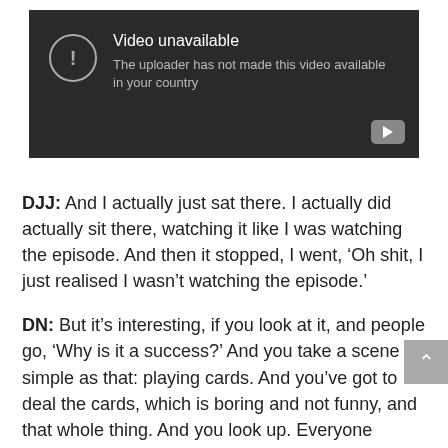[Figure (screenshot): Video unavailable placeholder with dark background, YouTube icon, and text 'Video unavailable / The uploader has not made this video available in your country']
DJJ: And I actually just sat there. I actually did actually sit there, watching it like I was watching the episode. And then it stopped, I went, ‘Oh shit, I just realised I wasn’t watching the episode.’
DN: But it’s interesting, if you look at it, and people go, ‘Why is it a success?’ And you take a scene as simple as that: playing cards. And you’ve got to deal the cards, which is boring and not funny, and that whole thing. And you look up. Everyone makes a contribution, team-wise. There’s a bit where you’re [Craig] dealing, Danny’s going [mimes Danny’s head following Craig’s hands as he deals], making it more